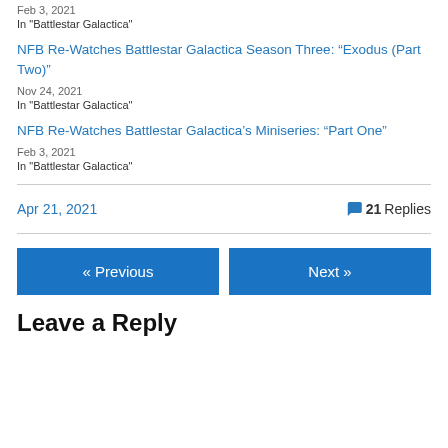Feb 3, 2021
In "Battlestar Galactica"
NFB Re-Watches Battlestar Galactica Season Three: “Exodus (Part Two)”
Nov 24, 2021
In "Battlestar Galactica"
NFB Re-Watches Battlestar Galactica’s Miniseries: “Part One”
Feb 3, 2021
In "Battlestar Galactica"
Apr 21, 2021    21 Replies
« Previous
Next »
Leave a Reply